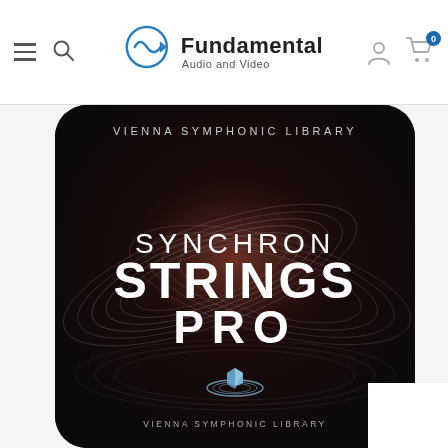Fundamental Audio and Video — navigation header
[Figure (screenshot): Vienna Symphonic Library Synchron Strings Pro product box art. Dark rounded-square cover with concentric ring waveforms on black background with brown/maroon center glow. Text reads VIENNA SYMPHONIC LIBRARY at top, then SYNCHRON STRINGS PRO in large white letters, and Vienna Symphonic Library logo (planet with rings and shield icon) at bottom.]